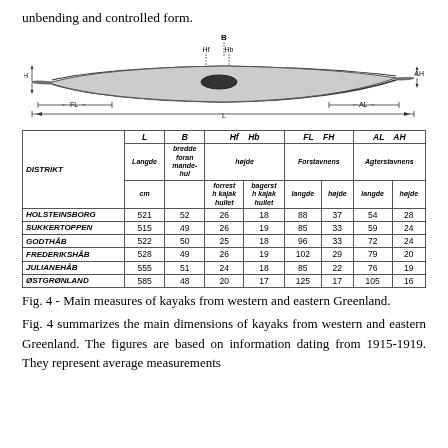unbending and controlled form.
[Figure (engineering-diagram): Side-view technical drawing of a kayak with labeled measurement dimensions: B (beam/width), Hf (forward hull height), Hb (back hull height), FH (fore height), FL (fore length), L (total length), AL (aft length), AH (aft height).]
| DISTRIKT | L Langde cm | B bredde foran mande-hul | Hf forrest h kajakhullet | Hb bagerst h kajakhullet | FL Forstav-nens langde | FH Forstav-nens hojde | AL Ager-stavnens langde | AH Ager-stavnens hojde |
| --- | --- | --- | --- | --- | --- | --- | --- | --- |
| HOLSTEINSBORG | 521 | 52 | 26 | 18 | 88 | 37 | 54 | 28 |
| SUKKERTOPPEN | 515 | 49 | 26 | 19 | 85 | 33 | 59 | 24 |
| GODTHÅB | 522 | 50 | 25 | 18 | 96 | 33 | 72 | 24 |
| FREDERIKSHÅB | 528 | 49 | 26 | 19 | 102 | 29 | 79 | 20 |
| JULIANEHÅB | 555 | 51 | 24 | 18 | 85 | 22 | 76 | 19 |
| ØSTGRØNLAND | 585 | 48 | 20 | 17 | 125 | 17 | 105 | 16 |
Fig. 4 - Main measures of kayaks from western and eastern Greenland.
Fig. 4 summarizes the main dimensions of kayaks from western and eastern Greenland. The figures are based on information dating from 1915-1919. They represent average measurements